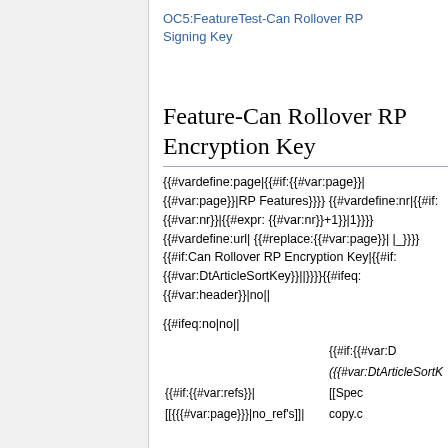OC5:FeatureTest-Can Rollover RP Signing Key
Feature-Can Rollover RP Encryption Key
{{#vardefine:page|{{#if:{{#var:page}}|{{#var:page}}|RP Features}}}}{{#vardefine:nr|{{#if:{{#var:nr}}|{{#expr:{{#var:nr}}+1}}|1}}}}{{#vardefine:url|{{#replace:{{#var:page}}| |_}}}}{{#if:Can Rollover RP Encryption Key|{{#if:{{#var:DtArticleSortKey}}||}}}}{{#ifeq:{{#var:header}}|no||
{{#ifeq:no|no||
{{#if:{{#var:D
({{#var:DtArticleSortK
{{#if:{{#var:refs}}|
[[Spec
[[{{{#var:page}}}|no_ref's]]|
copy.c